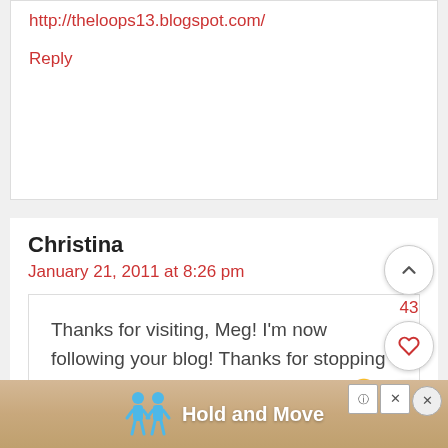http://theloops13.blogspot.com/
Reply
Christina
January 21, 2011 at 8:26 pm
Thanks for visiting, Meg! I'm now following your blog! Thanks for stopping by and be sure to come back soon! 🙂
[Figure (screenshot): Advertisement banner at bottom of page showing 'Hold and Move' with cartoon figures, with close and info buttons]
[Figure (other): Floating action buttons on right side: up-arrow button, count 43, heart button, red search button]